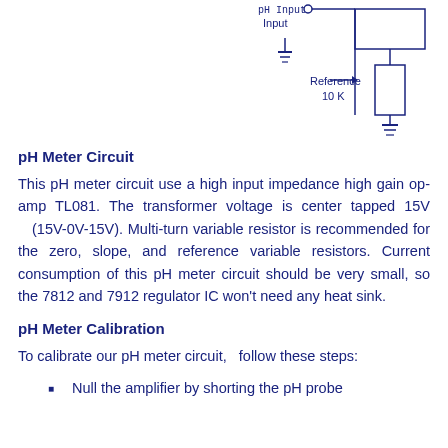[Figure (circuit-diagram): Partial circuit diagram showing pH probe Input with ground symbol, and a Reference resistor (10 K) with ground symbol on the right side.]
pH Meter Circuit
This pH meter circuit use a high input impedance high gain op-amp TL081. The transformer voltage is center tapped 15V (15V-0V-15V). Multi-turn variable resistor is recommended for the zero, slope, and reference variable resistors. Current consumption of this pH meter circuit should be very small, so the 7812 and 7912 regulator IC won't need any heat sink.
pH Meter Calibration
To calibrate our pH meter circuit,  follow these steps:
Null the amplifier by shorting the pH probe